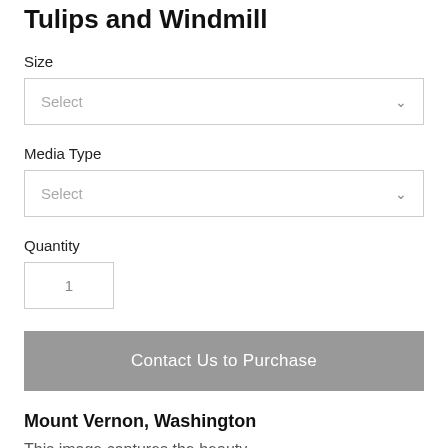Tulips and Windmill
Size
[Figure (screenshot): Dropdown selector box with placeholder text 'Select' and a chevron icon]
Media Type
[Figure (screenshot): Dropdown selector box with placeholder text 'Select' and a chevron icon]
Quantity
[Figure (screenshot): Quantity input box with value '1']
Contact Us to Purchase
Mount Vernon, Washington
This image captures the beauty of the local display gardens.